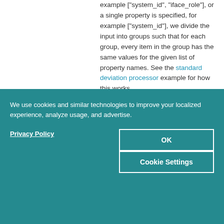example ["system_id", "iface_role"], or a single property is specified, for example ["system_id"], we divide the input into groups such that for each group, every item in the group has the same values for the given list of property names. See the standard deviation processor example for how this works.
The output type of a processor...
We use cookies and similar technologies to improve your localized experience, analyze usage, and advertise.
Privacy Policy
OK
Cookie Settings